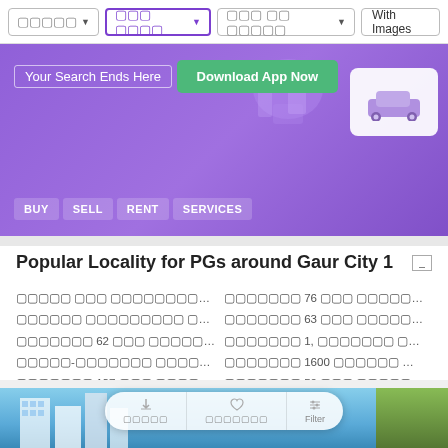[Figure (screenshot): Navigation bar with Hindi text dropdown buttons and 'With Images' button]
[Figure (screenshot): Purple banner with 'Your Search Ends Here' text, 'Download App Now' green button, car icon, and navigation tabs BUY, SELL, RENT, SERVICES]
Popular Locality for PGs around Gaur City 1
Hindi text locality links in grid layout with numbers like 76, 63, 62, 1, 1600, 137, 50
Hindi text heading with (गौर सिटी 1)
[Figure (screenshot): Bottom image strip showing buildings against blue sky and green foliage, with floating action bar showing Share, Shortlist, Filter]